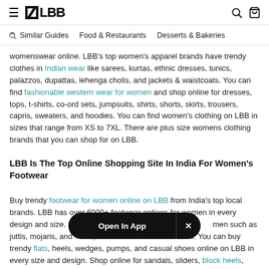≡ LBB 🔍 🛍
Similar Guides   Food & Restaurants   Desserts & Bakeries
womenswear online. LBB's top women's apparel brands have trendy clothes in Indian wear like sarees, kurtas, ethnic dresses, tunics, palazzos, dupattas, lehenga cholis, and jackets & waistcoats. You can find fashionable western wear for women and shop online for dresses, tops, t-shirts, co-ord sets, jumpsuits, shirts, shorts, skirts, trousers, capris, sweaters, and hoodies. You can find women's clothing on LBB in sizes that range from XS to 7XL. There are plus size womens clothing brands that you can shop for on LBB.
LBB Is The Top Online Shopping Site In India For Women's Footwear
Buy trendy footwear for women online on LBB from India's top local brands. LBB has over 6000+ footwear options for women in every design and size. Shop for Indian traditional footwear for women such as juttis, mojaris, and kolhapuris, and potli bag pendants. You can buy trendy flats, heels, wedges, pumps, and casual shoes online on LBB in every size and design. Shop online for sandals, sliders, block heels, ballerinas, mules, sneakers, loafers, and boots on LBB.
Open In App  ×